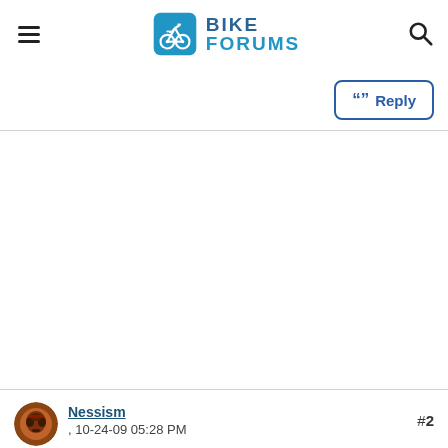Bike Forums
Reply
Nessism , 10-24-09 05:28 PM #2